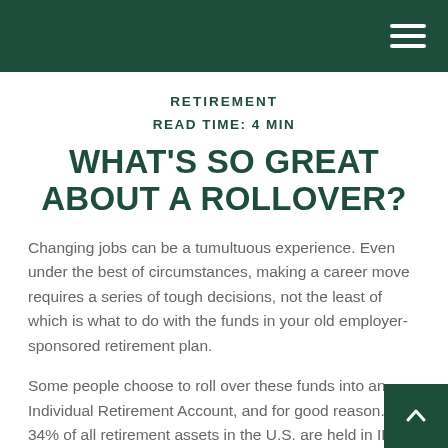RETIREMENT
READ TIME: 4 MIN
WHAT'S SO GREAT ABOUT A ROLLOVER?
Changing jobs can be a tumultuous experience. Even under the best of circumstances, making a career move requires a series of tough decisions, not the least of which is what to do with the funds in your old employer-sponsored retirement plan.
Some people choose to roll over these funds into an Individual Retirement Account, and for good reason. 34% of all retirement assets in the U.S. are held in IRAs,